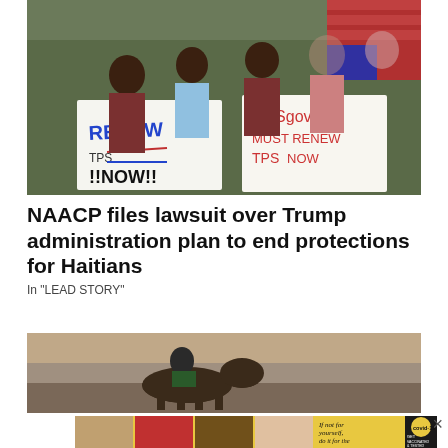[Figure (photo): Group of children holding protest signs reading 'RENEW TPS NOW!!' and 'DHSgov MUST RENEW TPS NOW' with an American flag in the background]
NAACP files lawsuit over Trump administration plan to end protections for Haitians
In "LEAD STORY"
[Figure (photo): Border patrol agent on horseback in rocky terrain]
[Figure (photo): Advertisement banner showing people with vaccine shots and COVID-19 vaccination promotion text: 'If not for yourself, do it for the ones you love.' with covid-19 branding]